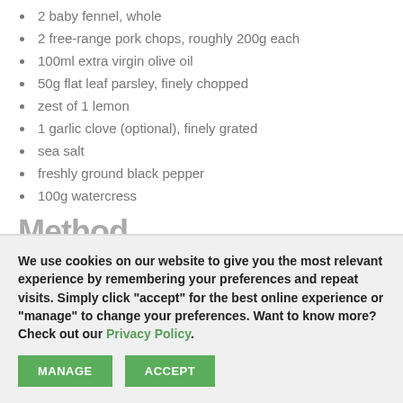2 baby fennel, whole
2 free-range pork chops, roughly 200g each
100ml extra virgin olive oil
50g flat leaf parsley, finely chopped
zest of 1 lemon
1 garlic clove (optional), finely grated
sea salt
freshly ground black pepper
100g watercress
Method
We use cookies on our website to give you the most relevant experience by remembering your preferences and repeat visits. Simply click "accept" for the best online experience or "manage" to change your preferences. Want to know more? Check out our Privacy Policy.